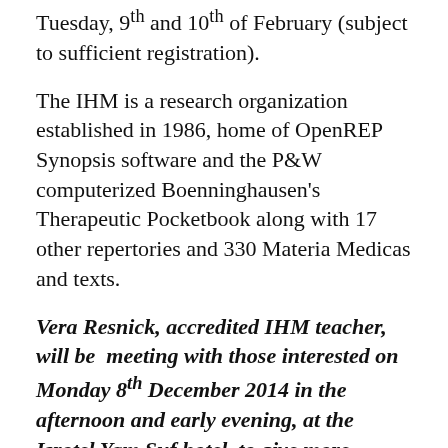Tuesday, 9th and 10th of February (subject to sufficient registration).
The IHM is a research organization established in 1986, home of OpenREP Synopsis software and the P&W computerized Boenninghausen's Therapeutic Pocketbook along with 17 other repertories and 330 Materia Medicas and texts.
Vera Resnick, accredited IHM teacher, will be  meeting with those interested on Monday 8th December 2014 in the afternoon and early evening, at the Isrotel Yam Suf hotel, to give more information about the course.  If